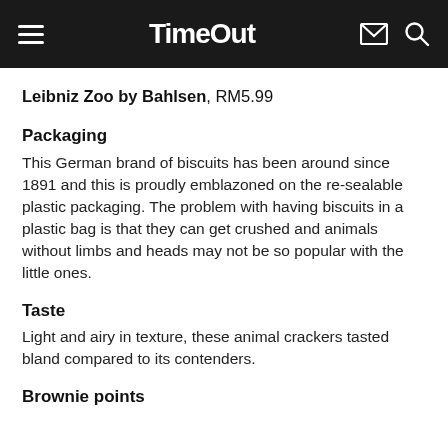TimeOut
Leibniz Zoo by Bahlsen, RM5.99
Packaging
This German brand of biscuits has been around since 1891 and this is proudly emblazoned on the re-sealable plastic packaging. The problem with having biscuits in a plastic bag is that they can get crushed and animals without limbs and heads may not be so popular with the little ones.
Taste
Light and airy in texture, these animal crackers tasted bland compared to its contenders.
Brownie points